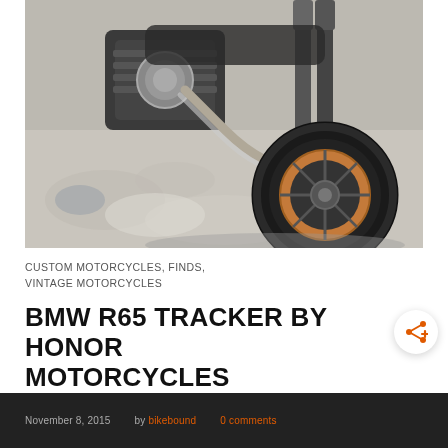[Figure (photo): Close-up photograph of a custom BMW R65 motorcycle engine and front wheel area, shot on a concrete surface. Black and white/desaturated tones with visible chrome exhaust pipes, large black tire with copper/orange brake disc, and suspension forks.]
CUSTOM MOTORCYCLES, FINDS, VINTAGE MOTORCYCLES
BMW R65 TRACKER BY HONOR MOTORCYCLES
November 8, 2015  by bikebound  0 comments